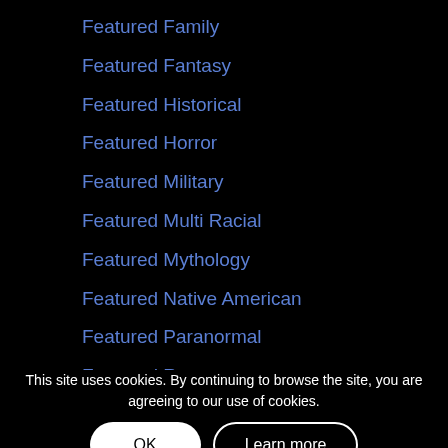Featured Family
Featured Fantasy
Featured Historical
Featured Horror
Featured Military
Featured Multi Racial
Featured Mythology
Featured Native American
Featured Paranormal
Featured Romance
Featured Science Fiction
Featured Suspense
Featured Thriller
Featured Western
Featured Witch
Featured Wom
Featured Young Adult
This site uses cookies. By continuing to browse the site, you are agreeing to our use of cookies.